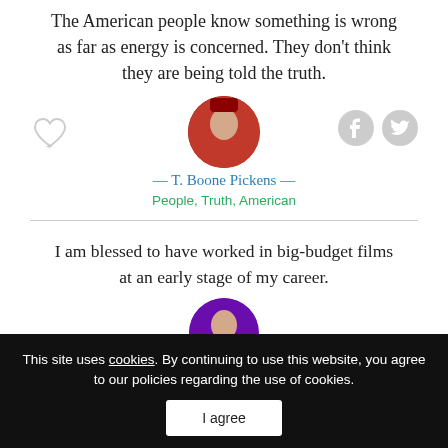The American people know something is wrong as far as energy is concerned. They don't think they are being told the truth.
[Figure (photo): Circular portrait photo of T. Boone Pickens]
— T. Boone Pickens —
People, Truth, American
I am blessed to have worked in big-budget films at an early stage of my career.
[Figure (photo): Circular portrait photo of second author, partially visible]
This site uses cookies. By continuing to use this website, you agree to our policies regarding the use of cookies.
I agree